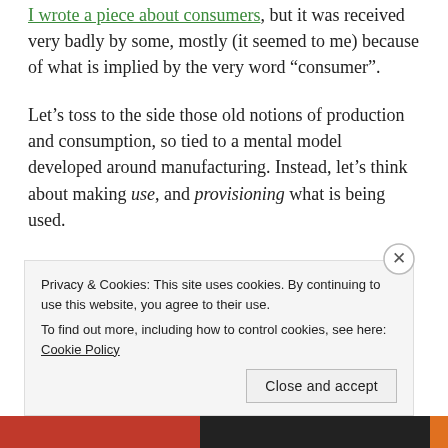I wrote a piece about consumers, but it was received very badly by some, mostly (it seemed to me) because of what is implied by the very word “consumer”.
Let’s toss to the side those old notions of production and consumption, so tied to a mental model developed around manufacturing. Instead, let’s think about making use, and provisioning what is being used.
Privacy & Cookies: This site uses cookies. By continuing to use this website, you agree to their use.
To find out more, including how to control cookies, see here: Cookie Policy